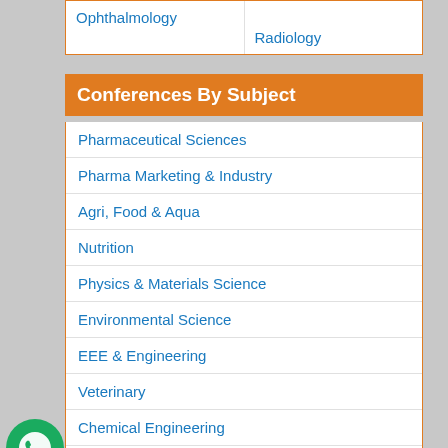Ophthalmology
Radiology
Conferences By Subject
Pharmaceutical Sciences
Pharma Marketing & Industry
Agri, Food & Aqua
Nutrition
Physics & Materials Science
Environmental Science
EEE & Engineering
Veterinary
Chemical Engineering
Business Management
Massmedia
Geology & Earth science